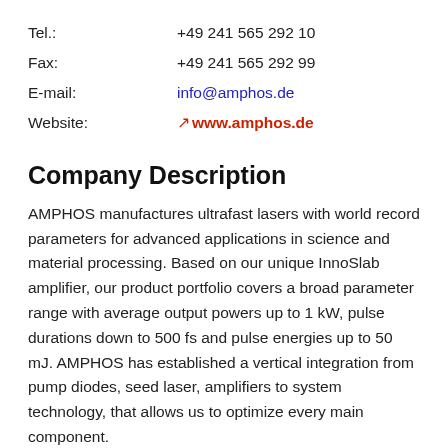Tel.:    +49 241 565 292 10
Fax:     +49 241 565 292 99
E-mail:  info@amphos.de
Website: www.amphos.de
Company Description
AMPHOS manufactures ultrafast lasers with world record parameters for advanced applications in science and material processing. Based on our unique InnoSlab amplifier, our product portfolio covers a broad parameter range with average output powers up to 1 kW, pulse durations down to 500 fs and pulse energies up to 50 mJ. AMPHOS has established a vertical integration from pump diodes, seed laser, amplifiers to system technology, that allows us to optimize every main component.